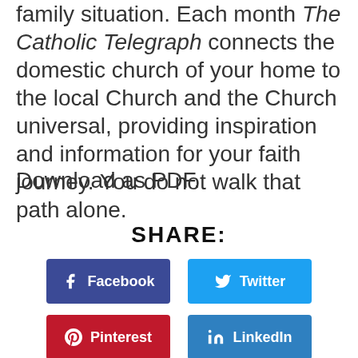family situation. Each month The Catholic Telegraph connects the domestic church of your home to the local Church and the Church universal, providing inspiration and information for your faith journey. You do not walk that path alone.
Download as PDF.
SHARE:
[Figure (infographic): Four social media share buttons: Facebook (dark blue), Twitter (light blue), Pinterest (red), LinkedIn (medium blue), each with icon and label]